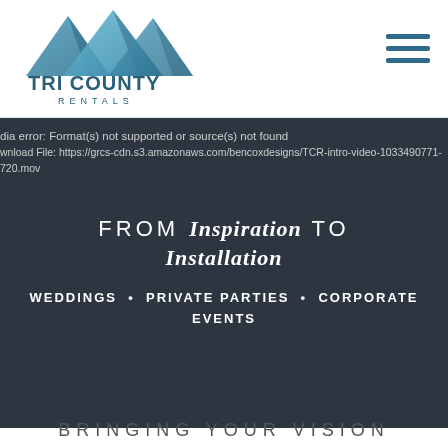[Figure (logo): Tri County Rentals logo with tent peaks graphic in blue gradient and text 'TRI COUNTY RENTALS' below]
[Figure (other): Hamburger menu icon (three horizontal lines) in dark teal/blue]
dia error: Format(s) not supported or source(s) not found
wnload File: https://grcs-cdn.s3.amazonaws.com/bencoxdesigns/TCR-intro-video-1033490771-
720.mov
FROM Inspiration TO Installation
WEDDINGS • PRIVATE PARTIES • CORPORATE EVENTS
BRINGING YOUR VISION